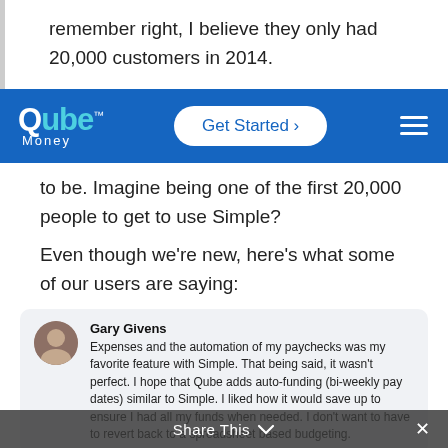remember right, I believe they only had 20,000 customers in 2014.
[Figure (screenshot): Qube Money navigation bar with logo, Get Started button, and hamburger menu on blue background]
to be. Imagine being one of the first 20,000 people to get to use Simple?
Even though we're new, here's what some of our users are saying:
Gary Givens
Expenses and the automation of my paychecks was my favorite feature with Simple. That being said, it wasn't perfect. I hope that Qube adds auto-funding (bi-weekly pay dates) similar to Simple. I liked how it would save up to ensure I had all my funds when needed. I don't want to have to revert back to a spreadsheet based budgeting.
Share This